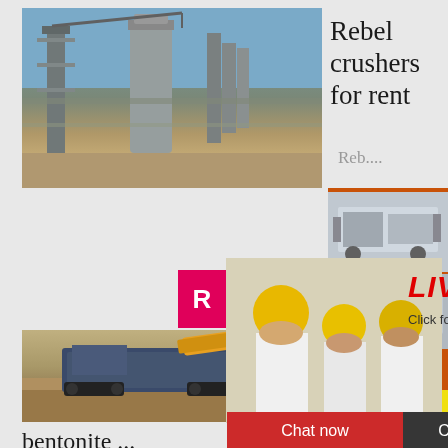[Figure (photo): Industrial machinery/plant facility with metal structures, tanks, and scaffolding against a blue sky]
Rebel crushers for rent
Reb....
[Figure (photo): Orange sidebar panel with crusher equipment product images]
Enjoy 3% discount
Click to Chat
[Figure (photo): Live chat popup overlay showing workers in yellow hard hats and white shirts with LIVE CHAT text in red]
LIVE CHAT
Click for a Free Consultation
Chat now
Chat later
[Figure (photo): Mobile crusher machine working on gravel/rock site outdoors]
prices
Enquiry
limingjlmofen
@sina.com
bentonite ...